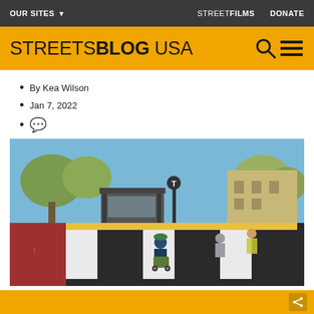OUR SITES   STREETFILMS   DONATE
STREETSBLOG USA
By Kea Wilson
Jan 7, 2022
[comment icon]
[Figure (photo): Person pushing a cart/stroller across a large zebra crosswalk in an urban street setting, with a transit station, trees, and other pedestrians visible in the background on a sunny day.]
[share button]